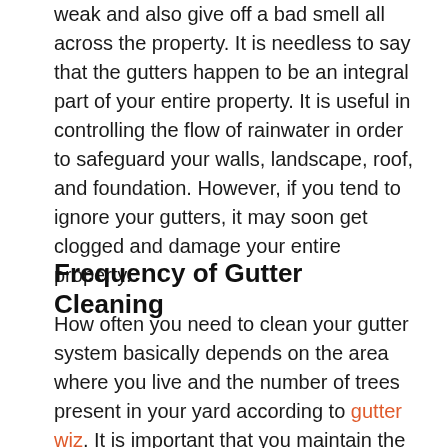weak and also give off a bad smell all across the property. It is needless to say that the gutters happen to be an integral part of your entire property. It is useful in controlling the flow of rainwater in order to safeguard your walls, landscape, roof, and foundation. However, if you tend to ignore your gutters, it may soon get clogged and damage your entire property.
Frequency of Gutter Cleaning
How often you need to clean your gutter system basically depends on the area where you live and the number of trees present in your yard according to gutter wiz. It is important that you maintain the gutters of your house during the fall and spring seasons. During this time of the year, the leaves of the trees around are mostly down and clearing them off is important to ensure that the gutters remain clean and